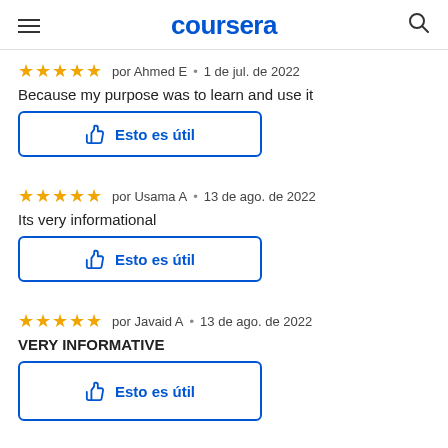coursera
★★★★★  por Ahmed E  •  1 de jul. de 2022
Because my purpose was to learn and use it
[Figure (other): Esto es útil button with thumbs up icon]
★★★★★  por Usama A  •  13 de ago. de 2022
Its very informational
[Figure (other): Esto es útil button with thumbs up icon]
★★★★★  por Javaid A  •  13 de ago. de 2022
VERY INFORMATIVE
[Figure (other): Esto es útil button with thumbs up icon (partially visible)]